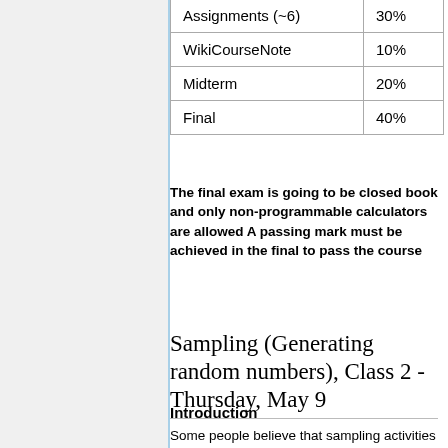| Assignments (~6) | 30% |
| WikiCourseNote | 10% |
| Midterm | 20% |
| Final | 40% |
The final exam is going to be closed book and only non-programmable calculators are allowed A passing mark must be achieved in the final to pass the course
Sampling (Generating random numbers), Class 2 - Thursday, May 9
Introduction
Some people believe that sampling activities such as rolling a dice and